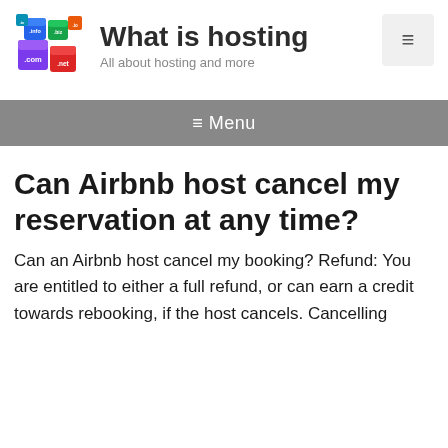[Figure (logo): Colorful 3D cubes with domain name extensions (.com, .biz, .info, .net, etc.) stacked together forming a logo for 'What is hosting' website]
What is hosting
All about hosting and more
[Figure (other): Hamburger menu button (three horizontal lines icon) in a light gray rounded rectangle box]
≡ Menu
Can Airbnb host cancel my reservation at any time?
Can an Airbnb host cancel my booking? Refund: You are entitled to either a full refund, or can earn a credit towards rebooking, if the host cancels. Cancelling